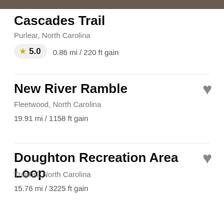[Figure (photo): Partial photo strip at top of page showing trail/nature scene]
Cascades Trail
Purlear, North Carolina
★ 5.0   0.86 mi / 220 ft gain
New River Ramble
Fleetwood, North Carolina
19.91 mi / 1158 ft gain
Doughton Recreation Area Loop
Traphill, North Carolina
15.76 mi / 3225 ft gain